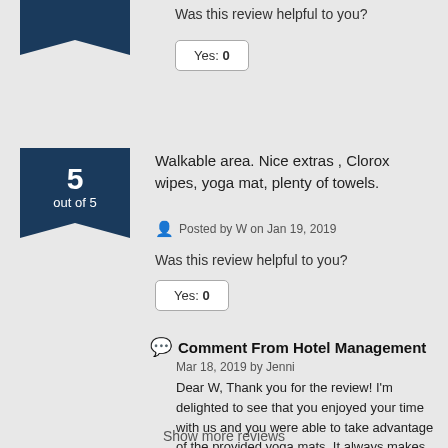Was this review helpful to you?
Yes: 0
5 out of 5
Walkable area. Nice extras , Clorox wipes, yoga mat, plenty of towels.
Posted by W on Jan 19, 2019
Was this review helpful to you?
Yes: 0
Comment From Hotel Management
Mar 18, 2019 by Jenni
Dear W, Thank you for the review! I'm delighted to see that you enjoyed your time with us and you were able to take advantage of the provided yoga mats. It always makes me happy to see that our amenities are being utilized. Looking forward to welcoming you back next time! Jennifer Poster Front Office Manager
Show more reviews